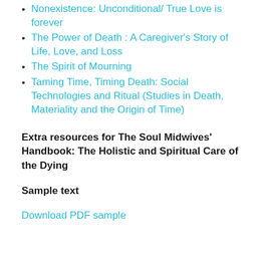Nonexistence: Unconditional/ True Love is forever
The Power of Death : A Caregiver's Story of Life, Love, and Loss
The Spirit of Mourning
Taming Time, Timing Death: Social Technologies and Ritual (Studies in Death, Materiality and the Origin of Time)
Extra resources for The Soul Midwives' Handbook: The Holistic and Spiritual Care of the Dying
Sample text
Download PDF sample